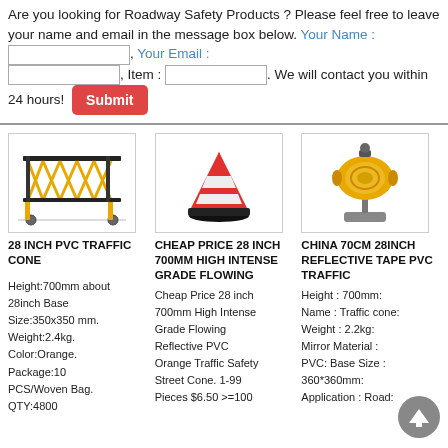Are you looking for Roadway Safety Products ? Please feel free to leave your name and email in the message box below. Your Name : [input], Your Email : [input], Item : [input]. We will contact you within 24 hours! [Submit]
[Figure (other): Three product images in a row: yellow expandable barrier gate, orange traffic cone, orange barricade light]
28 INCH PVC TRAFFIC CONE
CHEAP PRICE 28 INCH 700MM HIGH INTENSE GRADE FLOWING
CHINA 70CM 28INCH REFLECTIVE TAPE PVC TRAFFIC
Height:700mm about 28inch Base Size:350x350 mm. Weight:2.4kg. Color:Orange. Package:10 PCS/Woven Bag. QTY:4800
Cheap Price 28 inch 700mm High Intense Grade Flowing Reflective PVC Orange Traffic Safety Street Cone. 1-99 Pieces $6.50 >=100
Height : 700mm: Name : Traffic cone: Weight : 2.2kg: Mirror Material : PVC: Base Size : 360*360mm: Application : Road: